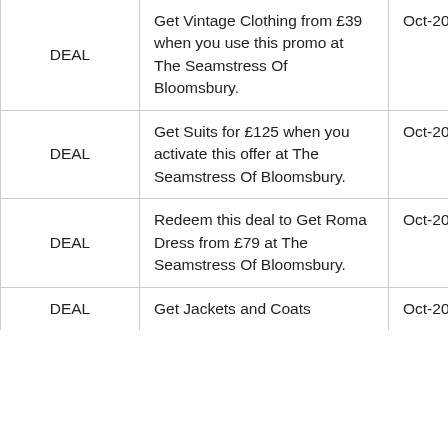| Type | Description | Date |
| --- | --- | --- |
| DEAL | Get Vintage Clothing from £39 when you use this promo at The Seamstress Of Bloomsbury. | Oct-20-2022 |
| DEAL | Get Suits for £125 when you activate this offer at The Seamstress Of Bloomsbury. | Oct-20-2022 |
| DEAL | Redeem this deal to Get Roma Dress from £79 at The Seamstress Of Bloomsbury. | Oct-20-2022 |
| DEAL | Get Jackets and Coats | Oct-20- |